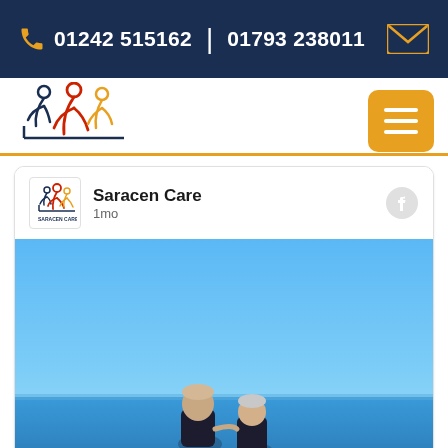01242 515162 | 01793 238011
[Figure (logo): Saracen Care logo with stylized figures in navy, gold and red]
Saracen Care
1mo
[Figure (photo): Two people standing at the seaside/beach with bright blue sky and ocean in the background]